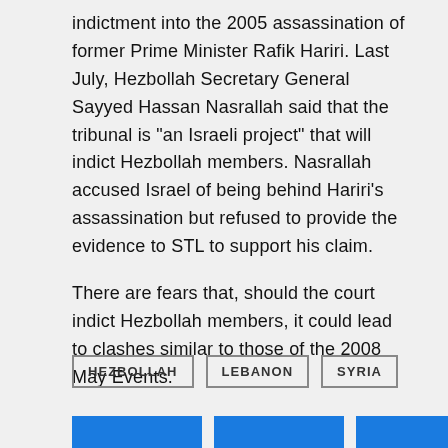indictment into the 2005 assassination of former Prime Minister Rafik Hariri. Last July, Hezbollah Secretary General Sayyed Hassan Nasrallah said that the tribunal is “an Israeli project” that will indict Hezbollah members. Nasrallah accused Israel of being behind Hariri’s assassination but refused to provide the evidence to STL to support his claim.
There are fears that, should the court indict Hezbollah members, it could lead to clashes similar to those of the 2008 May Events.
HEZBOLLAH
LEBANON
SYRIA